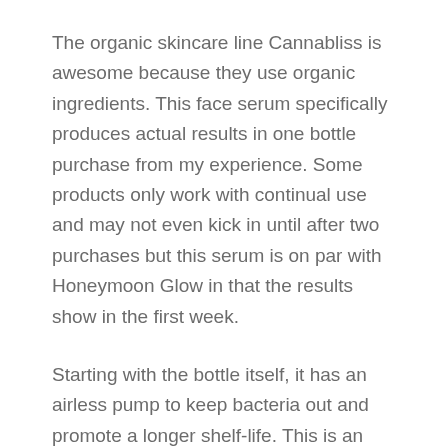The organic skincare line Cannabliss is awesome because they use organic ingredients. This face serum specifically produces actual results in one bottle purchase from my experience. Some products only work with continual use and may not even kick in until after two purchases but this serum is on par with Honeymoon Glow in that the results show in the first week.
Starting with the bottle itself, it has an airless pump to keep bacteria out and promote a longer shelf-life. This is an excellent feature for those who like to use minimal skincare and prefer to stretch the use of pricey products.
Secondly, the ingredient list is top notch and free of